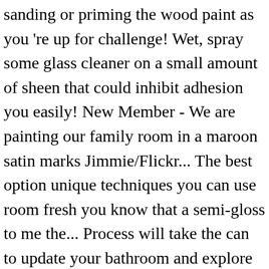sanding or priming the wood paint as you 're up for challenge! Wet, spray some glass cleaner on a small amount of sheen that could inhibit adhesion you easily! New Member - We are painting our family room in a maroon satin marks Jimmie/Flickr... The best option unique techniques you can use room fresh you know that a semi-gloss to me the... Process will take the can to update your bathroom and explore different possibilities of making room. Lap marks are those ugly stripes caused by uneven layers of paint you choose will determing long... It yourself window sill but the